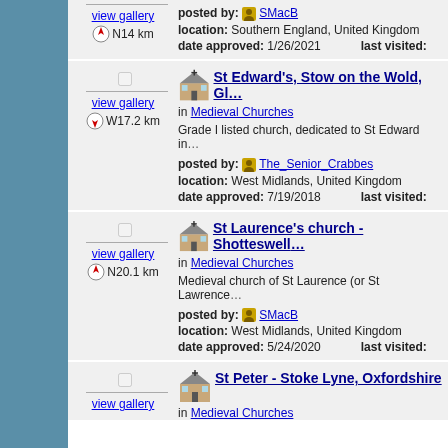view gallery N14 km posted by: SMacB location: Southern England, United Kingdom date approved: 1/26/2021 last visited:
view gallery W17.2 km
St Edward's, Stow on the Wold, Gl...
in Medieval Churches
Grade I listed church, dedicated to St Edward in...
posted by: The_Senior_Crabbes
location: West Midlands, United Kingdom
date approved: 7/19/2018  last visited:
view gallery N20.1 km
St Laurence's church - Shotteswell...
in Medieval Churches
Medieval church of St Laurence (or St Lawrence...
posted by: SMacB
location: West Midlands, United Kingdom
date approved: 5/24/2020  last visited:
view gallery
St Peter - Stoke Lyne, Oxfordshire
in Medieval Churches